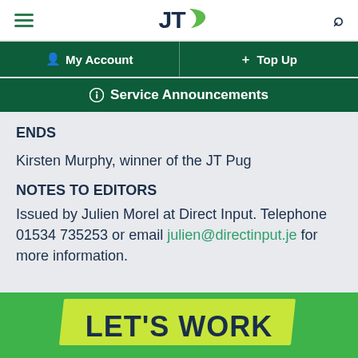JT — My Account | Top Up | Service Announcements
ENDS
Kirsten Murphy, winner of the JT Pug
NOTES TO EDITORS
Issued by Julien Morel at Direct Input. Telephone 01534 735253 or email julien@directinput.je for more information.
[Figure (other): Green banner with bold text 'LET'S WORK' in yellow-green diagonal style]